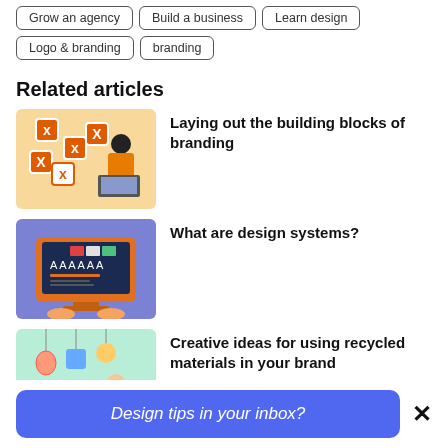Grow an agency
Build a business
Learn design
Logo & branding
branding
Related articles
[Figure (illustration): Illustration of a woman in orange jacket working at a laptop surrounded by X markers on orange/yellow background]
Laying out the building blocks of branding
[Figure (illustration): Illustration of a monitor displaying typography and color swatches, with hands on keyboard, orange monitor on blue/purple background]
What are design systems?
[Figure (illustration): Illustration of a person crafting with recycled materials, hanging decorations and plants on mint/green background]
Creative ideas for using recycled materials in your brand
Design tips in your inbox?